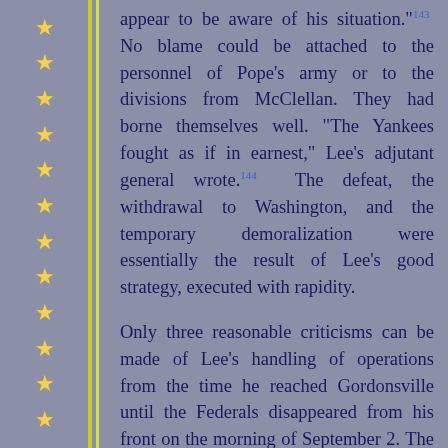appear to be aware of his situation."143 No blame could be attached to the personnel of Pope's army or to the divisions from McClellan. They had borne themselves well. "The Yankees fought as if in earnest," Lee's adjutant general wrote.144 The defeat, the withdrawal to Washington, and the temporary demoralization were essentially the result of Lee's good strategy, executed with rapidity.

Only three reasonable criticisms can be made of Lee's handling of operations from the time he reached Gordonsville until the Federals disappeared from his front on the morning of September 2. The first, that he should have crossed the Rapidan earlier than the 20th, is based on the valid assumption that if he had been able to catch Pope between the Rapidan